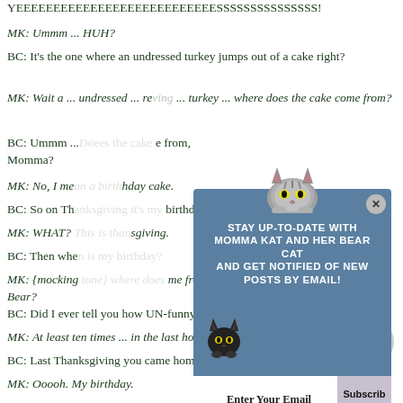YEEEEEEEEEEEEEEEEEEEEEEEEEEESSSSSSSSSSSSSSS!
MK: Ummm ... HUH?
BC: It's the one where an undressed turkey jumps out of a cake right?
MK: Wait a ... undressed ... re[ing ... turkey ... where does the cake come from?
BC: Ummm ... [obscured] e from, Momma?
MK: No, I me[obscured] hday cake.
BC: So on Th[obscured] birthday?
MK: WHAT? [obscured] sgiving.
BC: Then whe[obscured]
MK: {mocking[obscured] me from. Bear?
BC: Did I ever tell you how UN-funny you are?
MK: At least ten times ... in the last hour.
BC: Last Thanksgiving you came home with a cake!
MK: Ooooh. My birthday.
[Figure (illustration): Popup overlay with cat illustration. Title text: STAY UP-TO-DATE WITH MOMMA KAT AND HER BEAR CAT AND GET NOTIFIED OF NEW POSTS BY EMAIL! with email subscription input and Subscribe button. Small black cat illustration on left side of popup.]